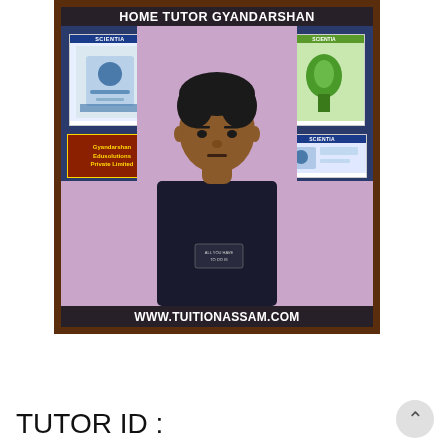[Figure (photo): Home tutor profile photo of a young man in a dark t-shirt, standing in front of a bulletin board with Scientia and Gyandarshan Edusolutions posters. The image is framed with a dark wooden border. Header text reads 'HOME TUTOR GYANDARSHAN' and footer reads 'WWW.TUITIONASSAM.COM'.]
TUTOR ID :